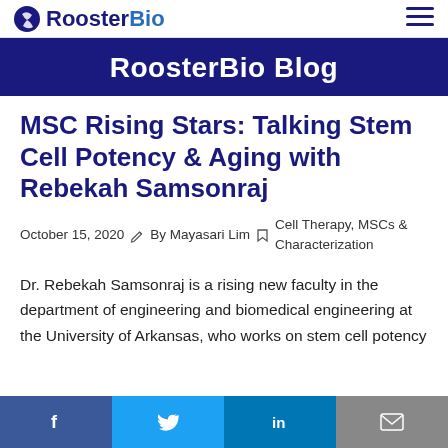RoosterBio
RoosterBio Blog
MSC Rising Stars: Talking Stem Cell Potency & Aging with Rebekah Samsonraj
October 15, 2020  By Mayasari Lim  Cell Therapy, MSCs & Characterization
Dr. Rebekah Samsonraj is a rising new faculty in the department of engineering and biomedical engineering at the University of Arkansas, who works on stem cell potency